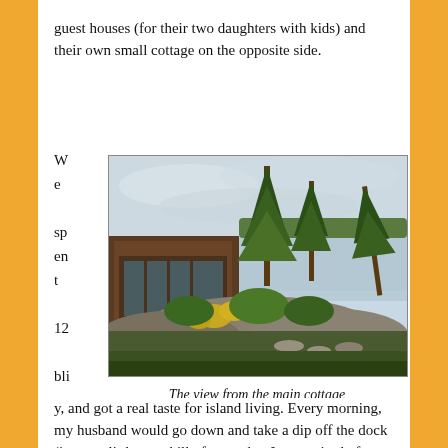guest houses (for their two daughters with kids) and their own small cottage on the opposite side.
We spent 12 blissful days on the bay, and got a real taste for island living. Every morning, my husband would go down and take a dip off the dock (it was a little too chilly for me, but I never tired of telling
[Figure (photo): A view from the main cottage showing a log cabin with a screened porch, rocky shoreline with yellow wildflowers and greenery, tall pine trees, and a calm bay or lake in the background under an overcast sky.]
The view from the main cottage